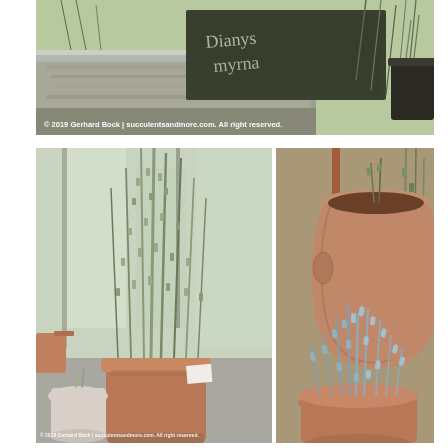[Figure (photo): Top photo: close-up of a weathered concrete or stone planter/trough edge with handwritten chalk text reading 'Dianys myrna', with dark plastic pots containing thin needle-like succulent plants in the background. Copyright watermark: © 2019 Gerhard Bock | succulentsandmore.com. All right reserved.]
[Figure (photo): Bottom-left photo: a tall branching succulent plant (possibly Euphorbia) with pale green upright stems in a terracotta pot, set against a greenhouse plastic sheeting backdrop with other pots in the background. Copyright watermark: © 2019 Gerhard Bock | succulentsandmore.com. All right reserved.]
[Figure (photo): Bottom-right photo: a large classic terracotta urn/jar planter with a smaller silvery-blue branching succulent plant (possibly Calocephalus or Euphorbia) in a terracotta pot in front, flanked by other plants in a nursery setting.]